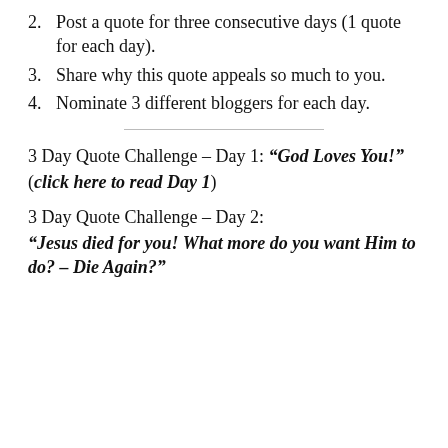2. Post a quote for three consecutive days (1 quote for each day).
3. Share why this quote appeals so much to you.
4. Nominate 3 different bloggers for each day.
3 Day Quote Challenge – Day 1: “God Loves You!”
(click here to read Day 1)
3 Day Quote Challenge – Day 2:
“Jesus died for you! What more do you want Him to do? – Die Again?”